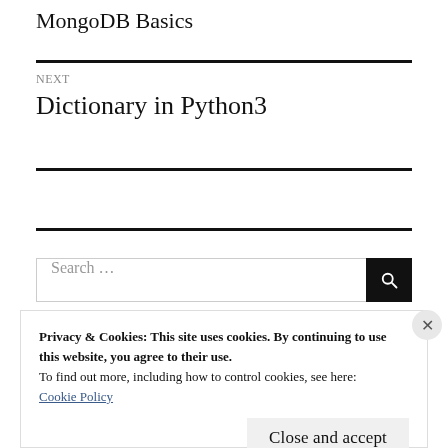MongoDB Basics
NEXT
Dictionary in Python3
Search ...
Privacy & Cookies: This site uses cookies. By continuing to use this website, you agree to their use.
To find out more, including how to control cookies, see here:
Cookie Policy
Close and accept